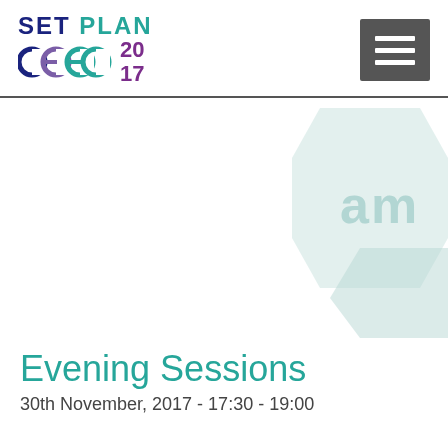[Figure (logo): SET PLAN CEEC 2017 conference logo with teal and dark blue text]
[Figure (illustration): Decorative hexagonal pattern with light teal/mint color on right side, partially visible, with faint text 'am' watermark]
Evening Sessions
30th November, 2017 - 17:30 - 19:00